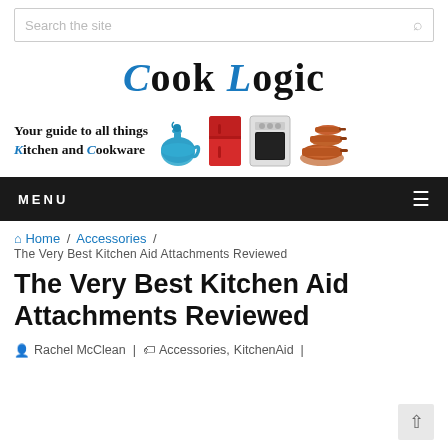Search the site
Cook Logic
[Figure (illustration): Banner with tagline 'Your guide to all things Kitchen and Cookware' with icons of a kettle, red fridge, oven, and copper pans]
MENU
Home / Accessories / The Very Best Kitchen Aid Attachments Reviewed
The Very Best Kitchen Aid Attachments Reviewed
Rachel McClean | Accessories, KitchenAid |